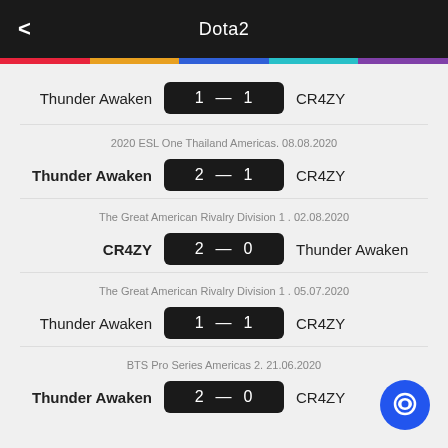Dota2
Thunder Awaken  1 — 1  CR4ZY
2020 ESL One Thailand Americas. 08.08.2020
Thunder Awaken  2 — 1  CR4ZY
The Great American Rivalry Division 1 . 02.08.2020
CR4ZY  2 — 0  Thunder Awaken
The Great American Rivalry Division 1 . 05.07.2020
Thunder Awaken  1 — 1  CR4ZY
BTS Pro Series Americas 2. 21.06.2020
Thunder Awaken  2 — 0  CR4ZY